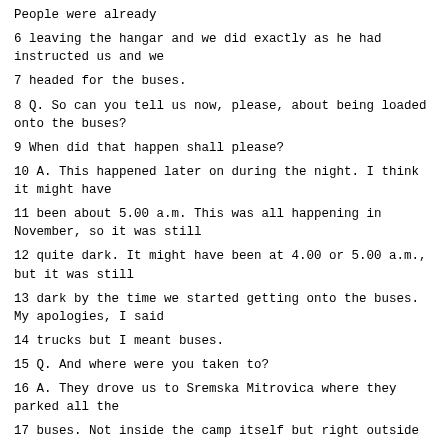People were already
6 leaving the hangar and we did exactly as he had instructed us and we
7 headed for the buses.
8 Q. So can you tell us now, please, about being loaded onto the buses?
9 When did that happen shall please?
10 A. This happened later on during the night. I think it might have
11 been about 5.00 a.m. This was all happening in November, so it was still
12 quite dark. It might have been at 4.00 or 5.00 a.m., but it was still
13 dark by the time we started getting onto the buses. My apologies, I said
14 trucks but I meant buses.
15 Q. And where were you taken to?
16 A. They drove us to Sremska Mitrovica where they parked all the
17 buses. Not inside the camp itself but right outside